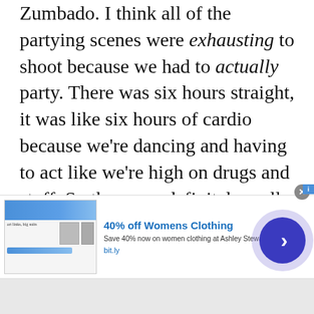Zumbado. I think all of the partying scenes were exhausting to shoot because we had to actually party. There was six hours straight, it was like six hours of cardio because we're dancing and having to act like we're high on drugs and stuff. So those are definitely really challenging, but it's weird to have to act like you're dancing without audio because for sound purposes we had to have the background
[Figure (screenshot): Advertisement banner: '40% off Womens Clothing' from Ashley Stewart. Shows a product image on the left, ad text in the middle, and a blue circular arrow button on the right. URL shown: bit.ly]